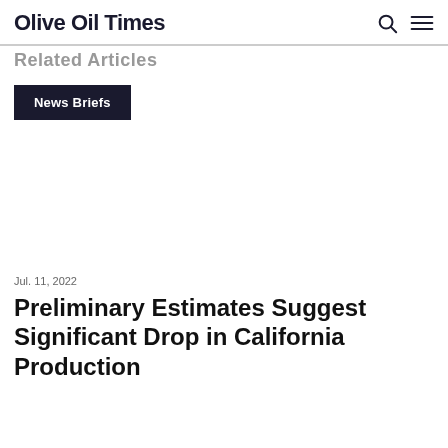Olive Oil Times
Related Articles
News Briefs
Jul. 11, 2022
Preliminary Estimates Suggest Significant Drop in California Production